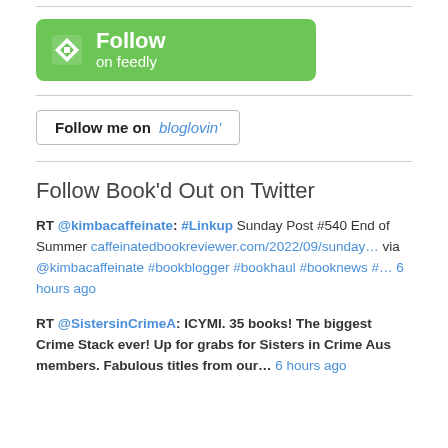[Figure (logo): Follow on Feedly green button with feedly icon]
[Figure (logo): Follow me on bloglovin' button with border]
Follow Book'd Out on Twitter
RT @kimbacaffeinate: #Linkup Sunday Post #540 End of Summer caffeinatedbookreviewer.com/2022/09/sunday… via @kimbacaffeinate #bookblogger #bookhaul #booknews #… 6 hours ago
RT @SistersinCrimeA: ICYMI. 35 books! The biggest Crime Stack ever! Up for grabs for Sisters in Crime Aus members. Fabulous titles from our… 6 hours ago